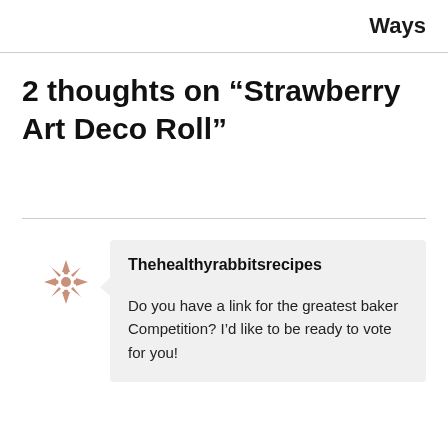Ways
2 thoughts on “Strawberry Art Deco Roll”
Thehealthyrabbitsrecipes
Do you have a link for the greatest baker Competition? I’d like to be ready to vote for you!